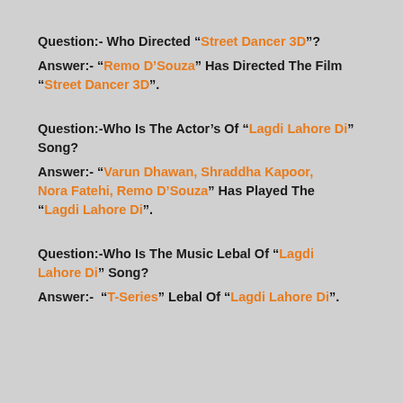Question:- Who Directed “Street Dancer 3D”?
Answer:- “Remo D’Souza” Has Directed The Film “Street Dancer 3D”.
Question:-Who Is The Actor’s Of “Lagdi Lahore Di” Song?
Answer:- “Varun Dhawan, Shraddha Kapoor, Nora Fatehi, Remo D’Souza” Has Played The “Lagdi Lahore Di”.
Question:-Who Is The Music Lebal Of “Lagdi Lahore Di” Song?
Answer:- “T-Series” Lebal Of “Lagdi Lahore Di”.